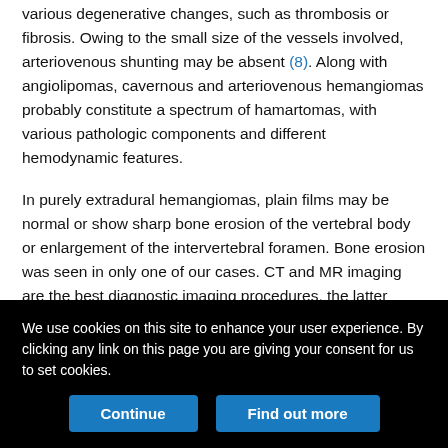various degenerative changes, such as thrombosis or fibrosis. Owing to the small size of the vessels involved, arteriovenous shunting may be absent (8). Along with angiolipomas, cavernous and arteriovenous hemangiomas probably constitute a spectrum of hamartomas, with various pathologic components and different hemodynamic features.
In purely extradural hemangiomas, plain films may be normal or show sharp bone erosion of the vertebral body or enlargement of the intervertebral foramen. Bone erosion was seen in only one of our cases. CT and MR imaging are the best diagnostic imaging procedures, the latter being more valuable in assessing the extent of the anatomic relationship between the lesion and the intervertebral disk and thecal sac. Few reports of the CT or MR features of
We use cookies on this site to enhance your user experience. By clicking any link on this page you are giving your consent for us to set cookies.